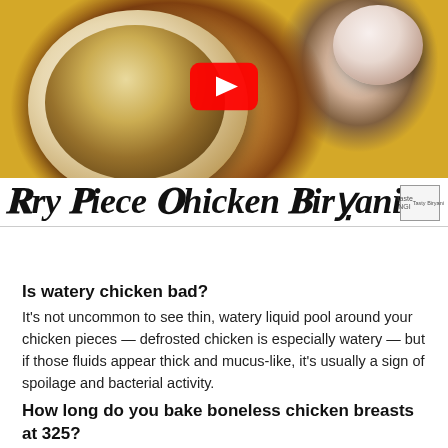[Figure (photo): YouTube video thumbnail showing a plate of Fry Piece Chicken Biryani with a red YouTube play button in the center, and a bowl of raita on the upper right. Colorful background with food items.]
Fry Piece Chicken Biryani
Is watery chicken bad?
It's not uncommon to see thin, watery liquid pool around your chicken pieces — defrosted chicken is especially watery — but if those fluids appear thick and mucus-like, it's usually a sign of spoilage and bacterial activity.
How long do you bake boneless chicken breasts at 325?